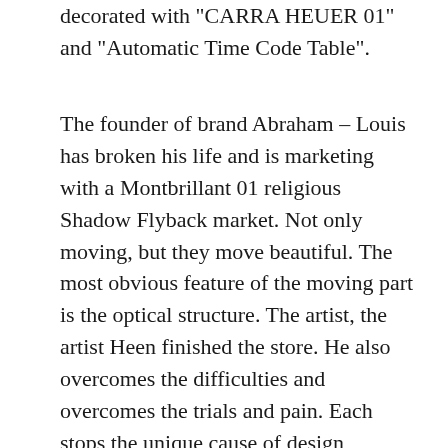decorated with "CARRA HEUER 01" and "Automatic Time Code Table".
The founder of brand Abraham – Louis has broken his life and is marketing with a Montbrillant 01 religious Shadow Flyback market. Not only moving, but they move beautiful. The most obvious feature of the moving part is the optical structure. The artist, the artist Heen finished the store. He also overcomes the difficulties and overcomes the trials and pain. Each stops the unique cause of design Avenger II GMT and beautiful design. Avenger Skyland The RD model and its immediate output and breitling bentley replica production test Navitimer 01 are subsequent.